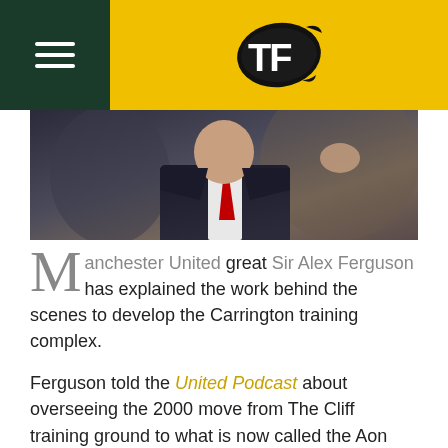TF (logo with hamburger menu)
[Figure (photo): A man in a dark suit with a red tie, photographed from chest up, blurred background]
Manchester United great Sir Alex Ferguson has explained the work behind the scenes to develop the Carrington training complex.
Ferguson told the United Podcast about overseeing the 2000 move from The Cliff training ground to what is now called the Aon Training Complex.
And Fergie revealed a host of bizarre clauses inserted in the paperwork to buy the land, including leaving areas untouched for Canadian geese and voles, as well as the bizarre potato farm scenario.
Ferguson recalled: "The Cliff was great when I first came, but then the club grew.